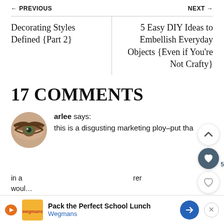← PREVIOUS    NEXT →
Decorating Styles Defined {Part 2}
5 Easy DIY Ideas to Embellish Everyday Objects {Even if You're Not Crafty}
17 COMMENTS
arlee says:
this is a disgusting marketing ploy–put that
in a     would     rer
Pack the Perfect School Lunch Wegmans